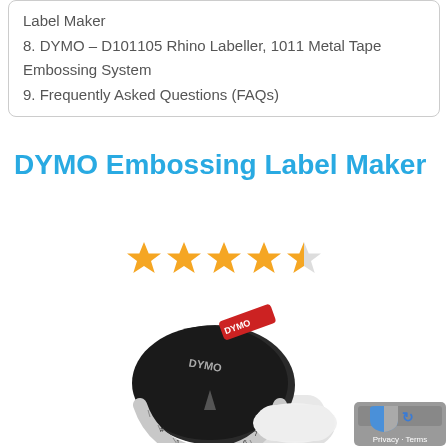Label Maker
8. DYMO – D101105 Rhino Labeller, 1011 Metal Tape Embossing System
9. Frequently Asked Questions (FAQs)
DYMO Embossing Label Maker
[Figure (other): Star rating showing 4 out of 5 stars (4 filled gold stars and 1 half-filled star)]
[Figure (photo): DYMO embossing label maker device with circular dial showing letters and numbers, red DYMO label, black and white body]
[Figure (other): Google reCAPTCHA privacy badge with shield icon showing blue and grey colors, text 'Privacy - Terms']